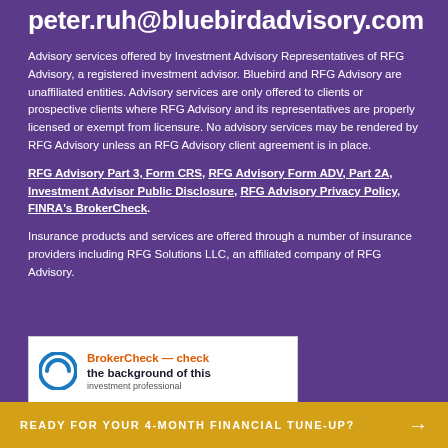peter.ruh@bluebirdadvisory.com
Advisory services offered by Investment Advisory Representatives of RFG Advisory, a registered investment advisor. Bluebird and RFG Advisory are unaffiliated entities. Advisory services are only offered to clients or prospective clients where RFG Advisory and its representatives are properly licensed or exempt from licensure. No advisory services may be rendered by RFG Advisory unless an RFG Advisory client agreement is in place.
RFG Advisory Part 3, Form CRS, RFG Advisory Form ADV, Part 2A, Investment Advisor Public Disclosure, RFG Advisory Privacy Policy, FINRA's BrokerCheck.
Insurance products and services are offered through a number of insurance providers including RFG Solutions LLC, an affiliated company of RFG Advisory.
[Figure (logo): BrokerCheck logo with text: BrokerCheck — check the background of this investment professional]
READY FOR YOUR 4-MONTH FINANCIAL TUNE-UP? →